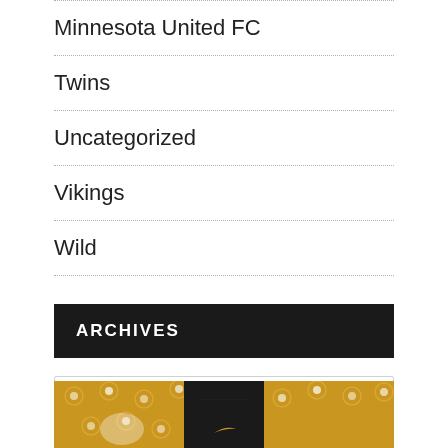Minnesota United FC
Twins
Uncategorized
Vikings
Wild
ARCHIVES
Select Month
[Figure (photo): Partial image of a person wearing a dark Nike jersey against a gold polka-dot background]